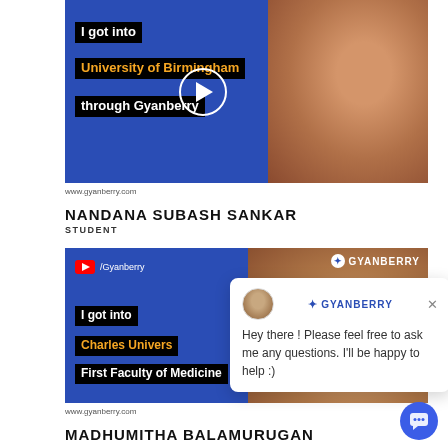[Figure (screenshot): Video thumbnail showing a student who got into University of Birmingham through Gyanberry, with play button overlay on blue background]
www.gyanberry.com
NANDANA SUBASH SANKAR
STUDENT
[Figure (screenshot): Video thumbnail showing a student who got into Charles University First Faculty of Medicine through Gyanberry, with YouTube logo and Gyanberry branding, overlaid with chat popup saying: Hey there ! Please feel free to ask me any questions. I'll be happy to help :)]
www.gyanberry.com
MADHUMITHA BALAMURUGAN